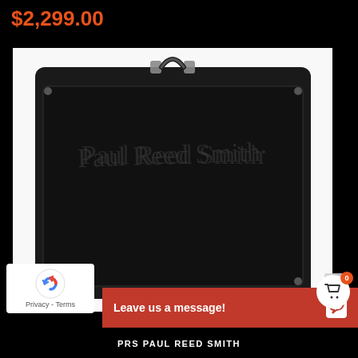$2,299.00
[Figure (photo): PRS Paul Reed Smith guitar amplifier combo, black tolex covering, black grille cloth with PRS signature logo, leather handle on top, silver hardware corners]
Privacy - Terms
Leave us a message!
PRS PAUL REED SMITH